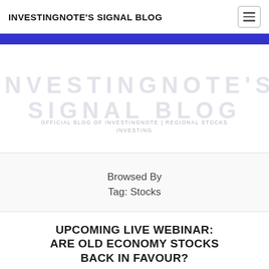INVESTINGNOTE'S SIGNAL BLOG
[Figure (logo): InvestingNote's Signal Blog watermark hero image with large light grey text 'INVESTINGNOTE'S SIGNAL BLOG' and subtitle 'OFFICIAL BLOG OF INVESTINGNOTE | REGIONAL STOCKS INVESTING']
Browsed By
Tag: Stocks
UPCOMING LIVE WEBINAR: ARE OLD ECONOMY STOCKS BACK IN FAVOUR?